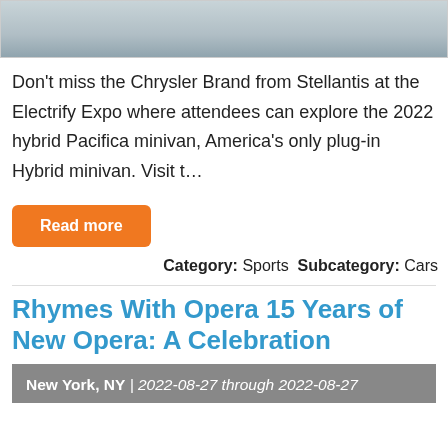[Figure (photo): Partial image at top of page showing a light sky/cloud background]
Don't miss the Chrysler Brand from Stellantis at the Electrify Expo where attendees can explore the 2022 hybrid Pacifica minivan, America's only plug-in Hybrid minivan. Visit t...
Read more
Category: Sports Subcategory: Cars
Rhymes With Opera 15 Years of New Opera: A Celebration
New York, NY | 2022-08-27 through 2022-08-27